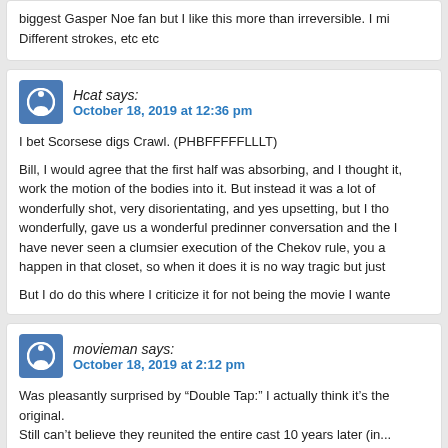biggest Gasper Noe fan but I like this more than irreversible. I mi Different strokes, etc etc
Hcat says: October 18, 2019 at 12:36 pm
I bet Scorsese digs Crawl. (PHBFFFFFLLLT)

Bill, I would agree that the first half was absorbing, and I thought it, work the motion of the bodies into it. But instead it was a lot of wonderfully shot, very disorientating, and yes upsetting, but I tho wonderfully, gave us a wonderful predinner conversation and the I have never seen a clumsier execution of the Chekov rule, you a happen in that closet, so when it does it is no way tragic but just

But I do do this where I criticize it for not being the movie I wante
movieman says: October 18, 2019 at 2:12 pm
Was pleasantly surprised by “Double Tap:” I actually think it’s the original.
Still can’t believe they reunited the entire cast 10 years later (in...